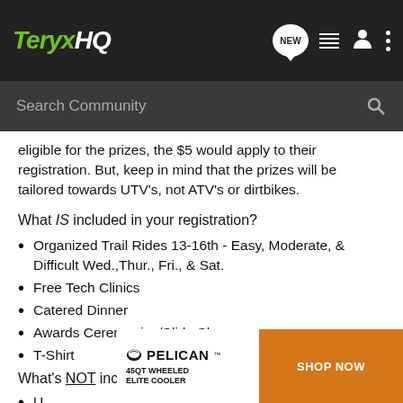TeryxHQ
eligible for the prizes, the $5 would apply to their registration. But, keep in mind that the prizes will be tailored towards UTV's, not ATV's or dirtbikes.
What IS included in your registration?
Organized Trail Rides 13-16th - Easy, Moderate, & Difficult Wed.,Thur., Fri., & Sat.
Free Tech Clinics
Catered Dinner
Awards Ceremonies/Slide Shows
T-Shirt
What's NOT included in your registration?
U...
[Figure (screenshot): Pelican 45QT Wheeled Elite Cooler advertisement banner with Shop Now button]